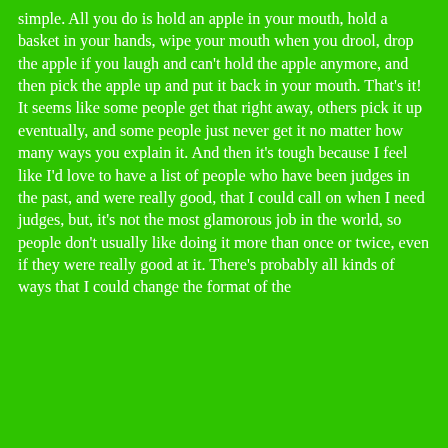simple. All you do is hold an apple in your mouth, hold a basket in your hands, wipe your mouth when you drool, drop the apple if you laugh and can't hold the apple anymore, and then pick the apple up and put it back in your mouth. That's it! It seems like some people get that right away, others pick it up eventually, and some people just never get it no matter how many ways you explain it. And then it's tough because I feel like I'd love to have a list of people who have been judges in the past, and were really good, that I could call on when I need judges, but, it's not the most glamorous job in the world, so people don't usually like doing it more than once or twice, even if they were really good at it. There's probably all kinds of ways that I could change the format of the